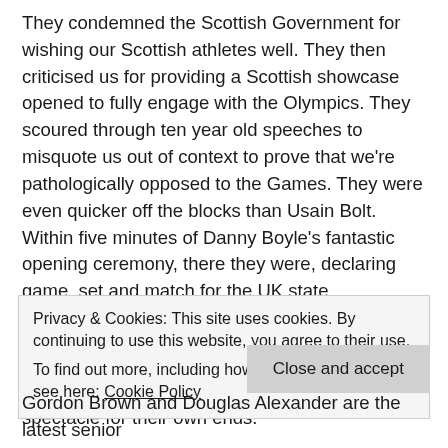They condemned the Scottish Government for wishing our Scottish athletes well. They then criticised us for providing a Scottish showcase opened to fully engage with the Olympics. They scoured through ten year old speeches to misquote us out of context to prove that we're pathologically opposed to the Games. They were even quicker off the blocks than Usain Bolt. Within five minutes of Danny Boyle's fantastic opening ceremony, there they were, declaring game, set and match for the UK state.
All of it utter nonsense, and all of it grating with the Scottish people who just wanted to enjoy the Games free from politicians trying to hijack this spectacle for their own ends.
Privacy & Cookies: This site uses cookies. By continuing to use this website, you agree to their use.
To find out more, including how to control cookies, see here: Cookie Policy
Close and accept
Gordon Brown and Douglas Alexander are the latest senior